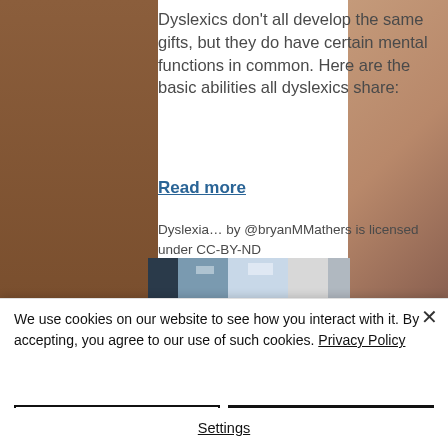Dyslexics don't all develop the same gifts, but they do have certain mental functions in common. Here are the basic abilities all dyslexics share:
Read more
Dyslexia… by @bryanMMathers is licensed under CC-BY-ND
[Figure (photo): Partial photograph strip showing interior office or hallway scene]
We use cookies on our website to see how you interact with it. By accepting, you agree to our use of such cookies. Privacy Policy
Decline All
Accept
Settings